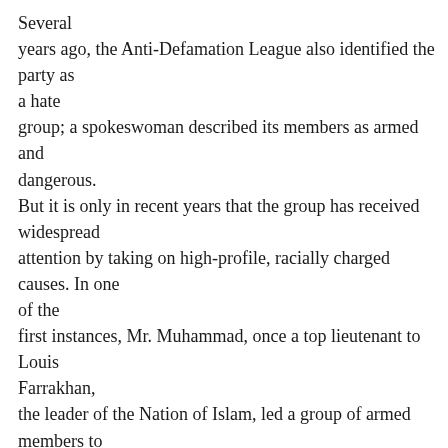Several years ago, the Anti-Defamation League also identified the party as a hate group; a spokeswoman described its members as armed and dangerous. But it is only in recent years that the group has received widespread attention by taking on high-profile, racially charged causes. In one of the first instances, Mr. Muhammad, once a top lieutenant to Louis Farrakhan, the leader of the Nation of Islam, led a group of armed members to Jasper, Tex., in 1998. The members said they intended to protect blacks from whites after the truck-dragging murder of a black man, James Byrd Jr., by three white men. When Bill Clinton opened his office in Harlem last year, Mr. Shabazz and other members showed up wearing paramilitary uniforms and demanded that the former president leave Harlem to blacks. The group also had repeated run-ins with former Mayor Rudolph W. Giuliani over its Million